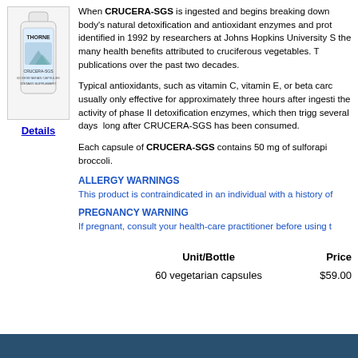[Figure (photo): THORNE CRUCERA-SGS supplement bottle in a white container with label]
Details
When CRUCERA-SGS is ingested and begins breaking down body's natural detoxification and antioxidant enzymes and proteins identified in 1992 by researchers at Johns Hopkins University S the many health benefits attributed to cruciferous vegetables. T publications over the past two decades.
Typical antioxidants, such as vitamin C, vitamin E, or beta caro usually only effective for approximately three hours after ingestion the activity of phase II detoxification enzymes, which then trigg several days long after CRUCERA-SGS has been consumed.
Each capsule of CRUCERA-SGS contains 50 mg of sulforaph broccoli.
ALLERGY WARNINGS
This product is contraindicated in an individual with a history of
PREGNANCY WARNING
If pregnant, consult your health-care practitioner before using t
| Unit/Bottle | Price |
| --- | --- |
| 60 vegetarian capsules | $59.00 |